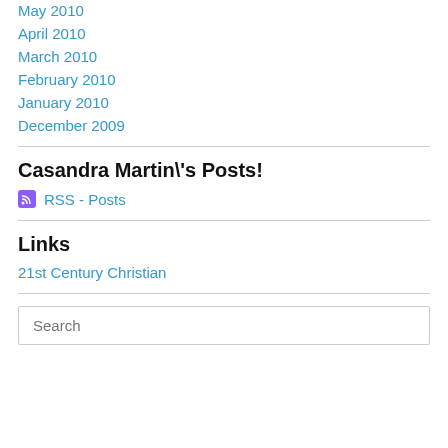May 2010
April 2010
March 2010
February 2010
January 2010
December 2009
Casandra Martin\'s Posts!
RSS - Posts
Links
21st Century Christian
Search